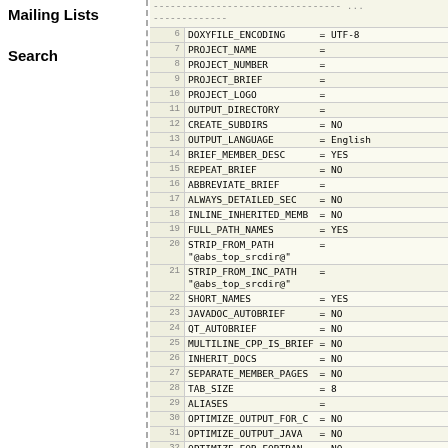Mailing Lists
Search
| line | code |
| --- | --- |
|  | --------------------------------- ... |
| 6 | DOXYFILE_ENCODING      = UTF-8 |
| 7 | PROJECT_NAME           = |
| 8 | PROJECT_NUMBER         = |
| 9 | PROJECT_BRIEF          = |
| 10 | PROJECT_LOGO           = |
| 11 | OUTPUT_DIRECTORY       = |
| 12 | CREATE_SUBDIRS         = NO |
| 13 | OUTPUT_LANGUAGE        = English |
| 14 | BRIEF_MEMBER_DESC      = YES |
| 15 | REPEAT_BRIEF           = NO |
| 16 | ABBREVIATE_BRIEF       = |
| 17 | ALWAYS_DETAILED_SEC    = NO |
| 18 | INLINE_INHERITED_MEMB  = NO |
| 19 | FULL_PATH_NAMES        = YES |
| 20 | STRIP_FROM_PATH        =
"@abs_top_srcdir@" |
| 21 | STRIP_FROM_INC_PATH    =
"@abs_top_srcdir@" |
| 22 | SHORT_NAMES            = YES |
| 23 | JAVADOC_AUTOBRIEF      = NO |
| 24 | QT_AUTOBRIEF           = NO |
| 25 | MULTILINE_CPP_IS_BRIEF = NO |
| 26 | INHERIT_DOCS           = NO |
| 27 | SEPARATE_MEMBER_PAGES  = NO |
| 28 | TAB_SIZE               = 8 |
| 29 | ALIASES                = |
| 30 | OPTIMIZE_OUTPUT_FOR_C  = NO |
| 31 | OPTIMIZE_OUTPUT_JAVA   = NO |
| 32 | OPTIMIZE_FOR_FORTRAN   = NO |
| 33 | OPTIMIZE_OUTPUT_VHDL   = NO |
| 34 | EXTENSION_MAPPING      = |